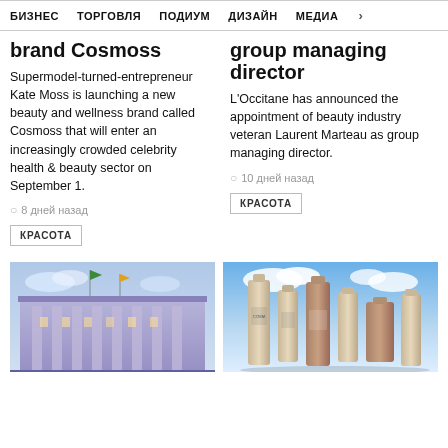БИЗНЕС   ТОРГОВЛЯ   ПОДИУМ   ДИЗАЙН   МЕДИА   >
brand Cosmoss
Supermodel-turned-entrepreneur Kate Moss is launching a new beauty and wellness brand called Cosmoss that will enter an increasingly crowded celebrity health & beauty sector on September 1.
8 дней назад
КРАСОТА
group managing director
L'Occitane has announced the appointment of beauty industry veteran Laurent Marteau as group managing director.
10 дней назад
КРАСОТА
[Figure (photo): Exterior of a grand classical building with columns, illuminated at dusk with flags on top]
[Figure (photo): Multiple skincare product bottles arranged in a row against a blue sky background]